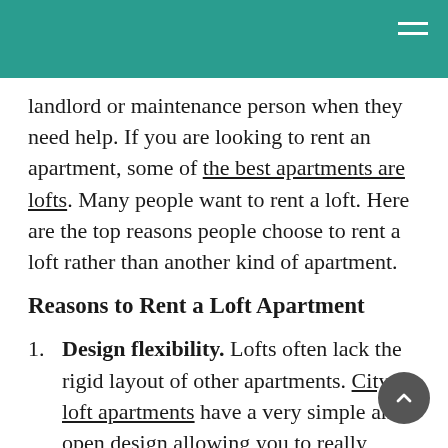landlord or maintenance person when they need help. If you are looking to rent an apartment, some of the best apartments are lofts. Many people want to rent a loft. Here are the top reasons people choose to rent a loft rather than another kind of apartment.
Reasons to Rent a Loft Apartment
Design flexibility. Lofts often lack the rigid layout of other apartments. City loft apartments have a very simple and open design allowing you to really customize